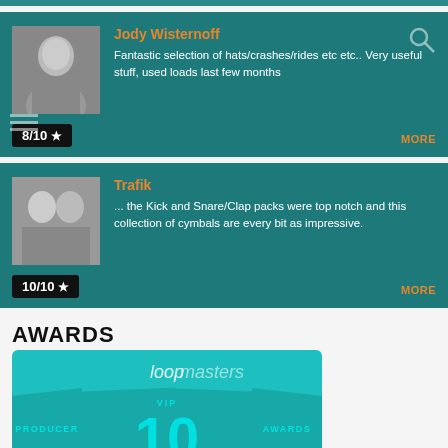[Figure (photo): Review card for Jody Wisternoff with profile photo, orange name, white review text, and 8/10 star rating on teal background]
[Figure (photo): Review card for Trafik with profile photo of two people, orange name, white review text, and 10/10 star rating on teal background]
AWARDS
[Figure (logo): Loopmasters VIP Producer Awards badge, teal background, showing number 10 in large text with ribbon-style PRODUCER and AWARDS labels]
RV Samples Proudly announce the third edition to our popular Designer Dance Drum samples with a mighty selection of handcrafted Cymbal one shot samples